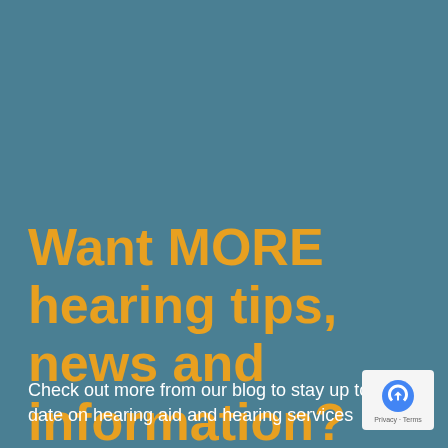Want MORE hearing tips, news and information?
Check out more from our blog to stay up to date on hearing aid and hearing services